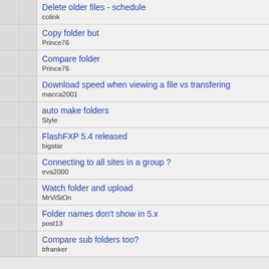Delete older files - schedule
colink
Copy folder but
Prince76
Compare folder
Prince76
Download speed when viewing a file vs transfering
macca2001
auto make folders
Style
FlashFXP 5.4 released
bigstar
Connecting to all sites in a group ?
eva2000
Watch folder and upload
MrViSiOn
Folder names don't show in 5.x
post13
Compare sub folders too?
bfranker